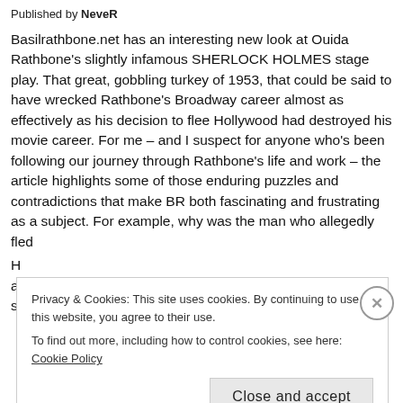Published by NeveR
Basilrathbone.net has an interesting new look at Ouida Rathbone's slightly infamous SHERLOCK HOLMES stage play. That great, gobbling turkey of 1953, that could be said to have wrecked Rathbone's Broadway career almost as effectively as his decision to flee Hollywood had destroyed his movie career. For me – and I suspect for anyone who's been following our journey through Rathbone's life and work – the article highlights some of those enduring puzzles and contradictions that make BR both fascinating and frustrating as a subject. For example, why was the man who allegedly fled
Privacy & Cookies: This site uses cookies. By continuing to use this website, you agree to their use.
To find out more, including how to control cookies, see here: Cookie Policy
Close and accept